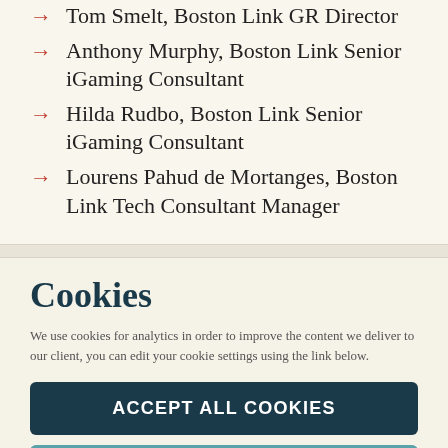Tom Smelt, Boston Link GR Director
Anthony Murphy, Boston Link Senior iGaming Consultant
Hilda Rudbo, Boston Link Senior iGaming Consultant
Lourens Pahud de Mortanges, Boston Link Tech Consultant Manager
Cookies
We use cookies for analytics in order to improve the content we deliver to our client, you can edit your cookie settings using the link below.
ACCEPT ALL COOKIES
MANAGE COOKIE SETTINGS